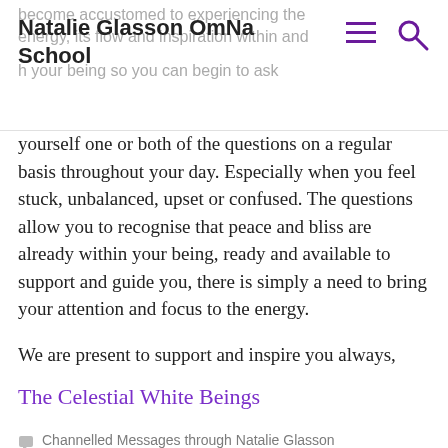Natalie Glasson OmNa School
yourself one or both of the questions on a regular basis throughout your day. Especially when you feel stuck, unbalanced, upset or confused. The questions allow you to recognise that peace and bliss are already within your being, ready and available to support and guide you, there is simply a need to bring your attention and focus to the energy.
We are present to support and inspire you always,
The Celestial White Beings
Channelled Messages through Natalie Glasson
Ascended Masters, Celestial Dolphins, Celestial White Beings, channeled messages, Channeled